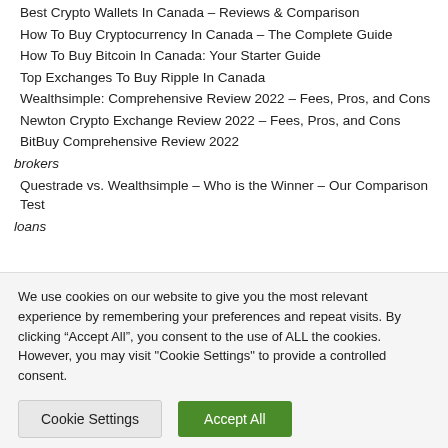Best Crypto Wallets In Canada – Reviews & Comparison
How To Buy Cryptocurrency In Canada – The Complete Guide
How To Buy Bitcoin In Canada: Your Starter Guide
Top Exchanges To Buy Ripple In Canada
Wealthsimple: Comprehensive Review 2022 – Fees, Pros, and Cons
Newton Crypto Exchange Review 2022 – Fees, Pros, and Cons
BitBuy Comprehensive Review 2022
brokers
Questrade vs. Wealthsimple – Who is the Winner – Our Comparison Test
loans
We use cookies on our website to give you the most relevant experience by remembering your preferences and repeat visits. By clicking “Accept All”, you consent to the use of ALL the cookies. However, you may visit "Cookie Settings" to provide a controlled consent.